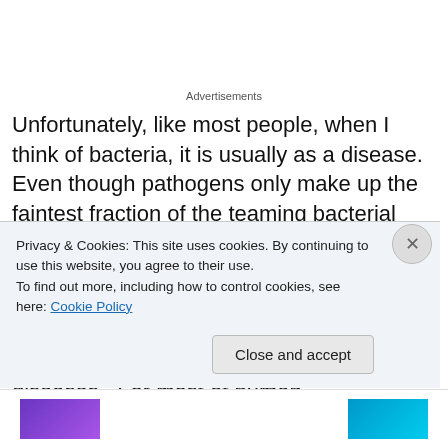Advertisements
Unfortunately, like most people, when I think of bacteria, it is usually as a disease.  Even though pathogens only make up the faintest fraction of the teaming bacterial world, bacterial illnesses are terrifying.  Tetanus, typhoid fever, diphtheria, syphilis, cholera, bubonic plague, staph, pneumonia, leprosy and tuberculosis are all bacteria, as are many other wicked diseases.  For most of human
Privacy & Cookies: This site uses cookies. By continuing to use this website, you agree to their use.
To find out more, including how to control cookies, see here: Cookie Policy